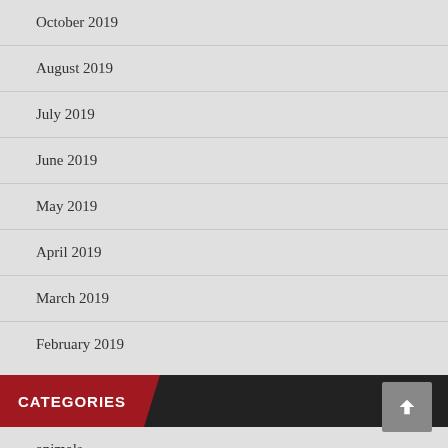October 2019
August 2019
July 2019
June 2019
May 2019
April 2019
March 2019
February 2019
CATEGORIES
animals
art
craft
driving